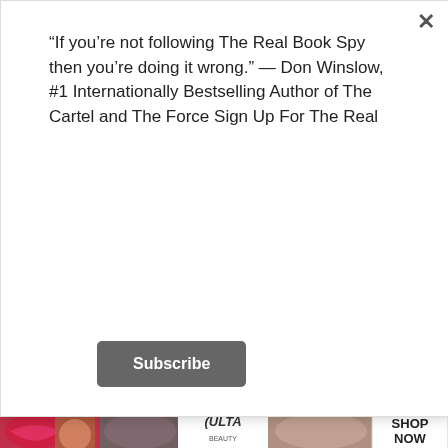“If you’re not following The Real Book Spy then you’re doing it wrong.” — Don Winslow, #1 Internationally Bestselling Author of The Cartel and The Force Sign Up For The Real
Subscribe
fiction novels, period.
[Figure (photo): Book cover showing two silhouetted figures (adult and child) standing in a bright doorway, with bats or birds visible. Text at bottom: THE #1 NEW YORK TIMES BESTSELLING AUTHOR]
THE HOUSE OF SECRETS BY BRAD MELTZER
[Figure (photo): Advertisement banner for ULTA beauty with makeup imagery and SHOP NOW call to action]
Advertisements